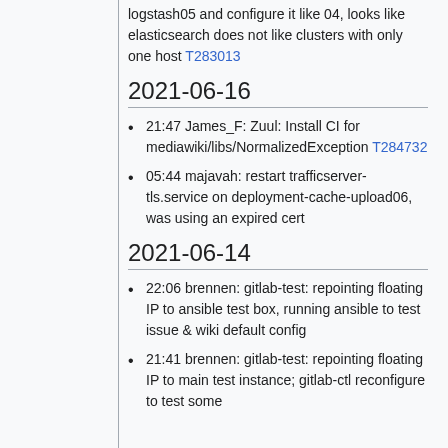logstash05 and configure it like 04, looks like elasticsearch does not like clusters with only one host T283013
2021-06-16
21:47 James_F: Zuul: Install CI for mediawiki/libs/NormalizedException T284732
05:44 majavah: restart trafficserver-tls.service on deployment-cache-upload06, was using an expired cert
2021-06-14
22:06 brennen: gitlab-test: repointing floating IP to ansible test box, running ansible to test issue & wiki default config
21:41 brennen: gitlab-test: repointing floating IP to main test instance; gitlab-ctl reconfigure to test some